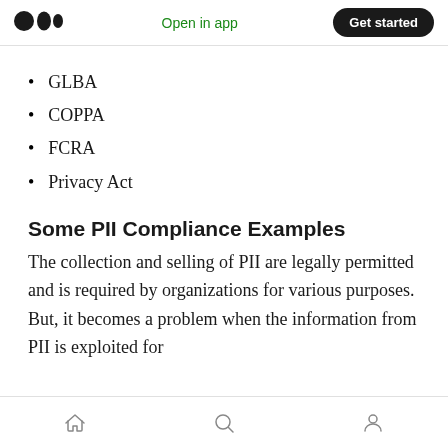Open in app | Get started
GLBA
COPPA
FCRA
Privacy Act
Some PII Compliance Examples
The collection and selling of PII are legally permitted and is required by organizations for various purposes. But, it becomes a problem when the information from PII is exploited for
home | search | profile